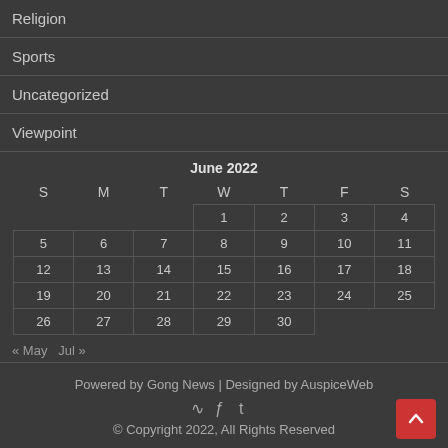Religion
Sports
Uncategorized
Viewpoint
| S | M | T | W | T | F | S |
| --- | --- | --- | --- | --- | --- | --- |
|  |  |  | 1 | 2 | 3 | 4 |
| 5 | 6 | 7 | 8 | 9 | 10 | 11 |
| 12 | 13 | 14 | 15 | 16 | 17 | 18 |
| 19 | 20 | 21 | 22 | 23 | 24 | 25 |
| 26 | 27 | 28 | 29 | 30 |  |  |
« May  Jul »
Powered by Gong News | Designed by AuspiceWeb
© Copyright 2022, All Rights Reserved